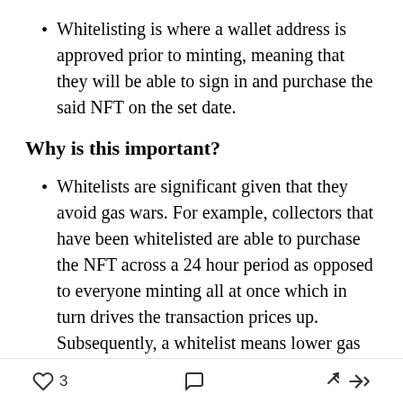Whitelisting is where a wallet address is approved prior to minting, meaning that they will be able to sign in and purchase the said NFT on the set date.
Why is this important?
Whitelists are significant given that they avoid gas wars. For example, collectors that have been whitelisted are able to purchase the NFT across a 24 hour period as opposed to everyone minting all at once which in turn drives the transaction prices up. Subsequently, a whitelist means lower gas prices
3 [heart icon] [comment icon] [share icon]